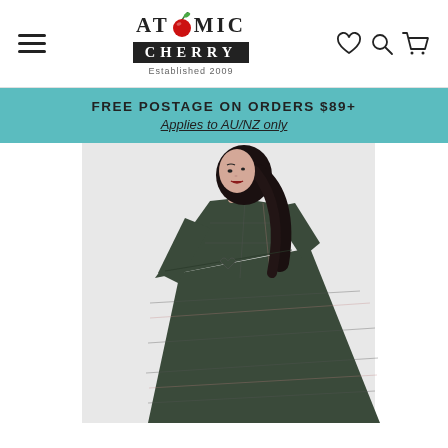Atomic Cherry — Established 2009 — navigation header with hamburger menu, logo, wishlist, search and cart icons
FREE POSTAGE ON ORDERS $89+
Applies to AU/NZ only
[Figure (photo): A woman with dark hair wearing a dark green tartan/plaid knee-length swing dress with 3/4 sleeves, posed against a light grey background, skirt swirling outward.]